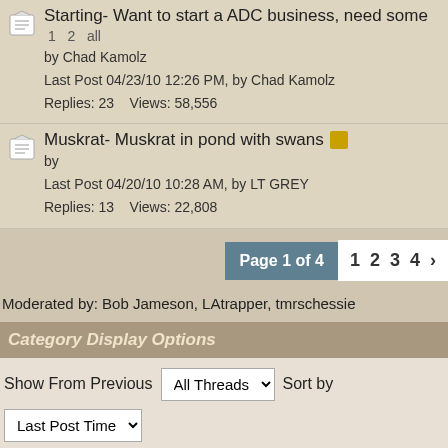Starting- Want to start a ADC business, need some  1 2 all
by Chad Kamolz
Last Post 04/23/10 12:26 PM, by Chad Kamolz
Replies: 23   Views: 58,556
Muskrat- Muskrat in pond with swans
by
Last Post 04/20/10 10:28 AM, by LT GREY
Replies: 13   Views: 22,808
Page 1 of 4   1  2  3  4
Moderated by: Bob Jameson, LAtrapper, tmrschessie
Category Display Options
Show From Previous   All Threads   Sort by   Last Post Time
Descending   Change
Forum Rules · Mark All Read    Contact Us · Home
Powered by UBB.threads™ PHP Forum Software 7.7.1